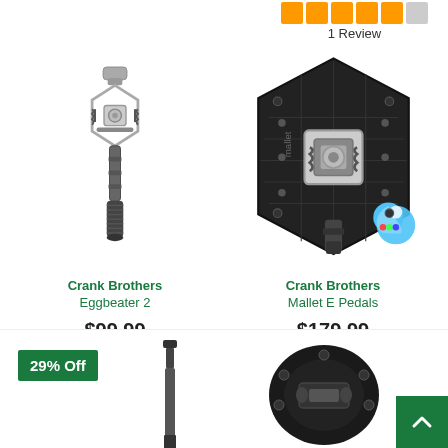1 Review
[Figure (photo): Crank Brothers Eggbeater 2 bicycle pedal, silver/black clipless pedal viewed from top]
Crank Brothers
Eggbeater 2
$99.99
[Figure (photo): Crank Brothers Mallet E Pedals, black platform clipless pedal with award logo]
Crank Brothers
Mallet E Pedals
$179.99
29% Off
[Figure (photo): Bicycle seatpost component, black, partially visible]
[Figure (photo): Black bicycle pedal component, bottom view, partially visible]